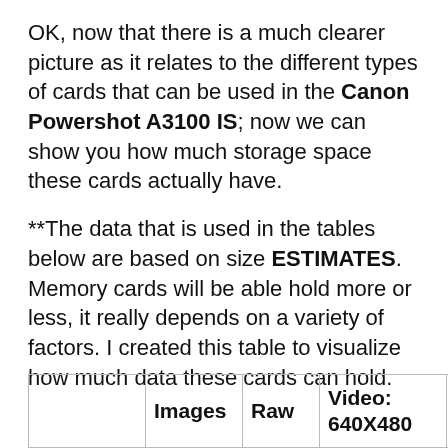OK, now that there is a much clearer picture as it relates to the different types of cards that can be used in the Canon Powershot A3100 IS; now we can show you how much storage space these cards actually have.
**The data that is used in the tables below are based on size ESTIMATES. Memory cards will be able hold more or less, it really depends on a variety of factors. I created this table to visualize how much data these cards can hold.
|  | Images | Raw | Video: 640X480 | Video: 1280X720 |
| --- | --- | --- | --- | --- |